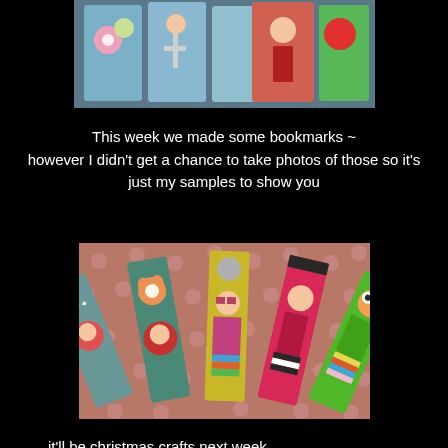[Figure (photo): Top portion of colorful illustrated bookmark cards/tiles spread out on a blue background, showing partial whimsical character illustrations]
This week we made some bookmarks ~ however I didn't get a chance to take photos of those so it's just my samples to show you
[Figure (photo): Five colorful handmade bookmarks fanned out on a pink polka-dot background, each featuring whimsical hand-painted characters including a girl with a fox, a doll in yellow, and other cute illustrated characters]
it'll be christmas crafts next week.
TFL
mandy x